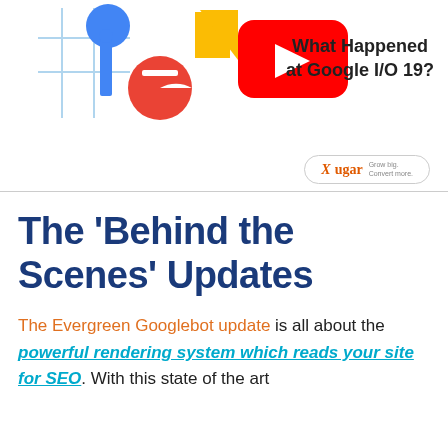[Figure (screenshot): Google I/O 19 banner with '#io19' logo, YouTube play button icon, and text 'What Happened at Google I/O 19?']
[Figure (logo): Xugar pill-shaped advertisement logo with text 'Grow big. Convert more.']
The ‘Behind the Scenes’ Updates
The Evergreen Googlebot update is all about the powerful rendering system which reads your site for SEO. With this state of the art